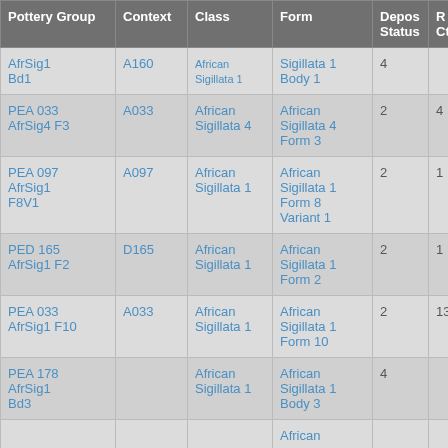| Pottery Group | Context | Class | Form | Depos Status | R Ct | R EV |
| --- | --- | --- | --- | --- | --- | --- |
| AfrSig1 Bd1 | A160 | African Sigillata 1 | Sigillata 1 Body 1 | 4 |  |  |
| PEA 033 AfrSig4 F3 | A033 | African Sigillata 4 | African Sigillata 4 Form 3 | 2 | 4 | 3 |
| PEA 097 AfrSig1 F8V1 | A097 | African Sigillata 1 | African Sigillata 1 Form 8 Variant 1 | 2 | 1 | 1 |
| PED 165 AfrSig1 F2 | D165 | African Sigillata 1 | African Sigillata 1 Form 2 | 2 | 1 | 1 |
| PEA 033 AfrSig1 F10 | A033 | African Sigillata 1 | African Sigillata 1 Form 10 | 2 | 13 | 13 |
| PEA 178 AfrSig1 Bd3 |  | African Sigillata 1 | African Sigillata 1 Body 3 | 4 |  |  |
|  |  |  | African |  |  |  |